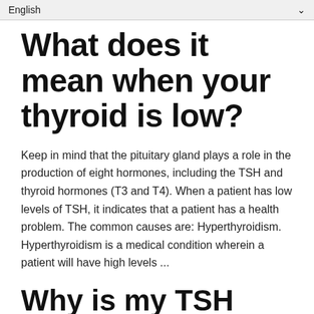English
What does it mean when your thyroid is low?
Keep in mind that the pituitary gland plays a role in the production of eight hormones, including the TSH and thyroid hormones (T3 and T4). When a patient has low levels of TSH, it indicates that a patient has a health problem. The common causes are: Hyperthyroidism. Hyperthyroidism is a medical condition wherein a patient will have high levels ...
Why is my TSH low?
What are Symptoms: The most common cause of low TSH level is a hyperactive thyroid gland. Because the thyroid hormones help regulate various body functions such as metabolism, an increase in these hormones can lead to the following symptoms: